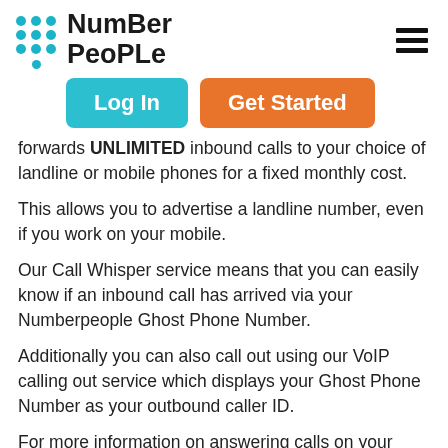[Figure (logo): NumberPeople logo with teal dot grid and bold text, plus hamburger menu icon]
[Figure (screenshot): Log In (teal) and Get Started (orange) navigation buttons]
forwards UNLIMITED inbound calls to your choice of landline or mobile phones for a fixed monthly cost.
This allows you to advertise a landline number, even if you work on your mobile.
Our Call Whisper service means that you can easily know if an inbound call has arrived via your Numberpeople Ghost Phone Number.
Additionally you can also call out using our VoIP calling out service which displays your Ghost Phone Number as your outbound caller ID.
For more information on answering calls on your mobile please